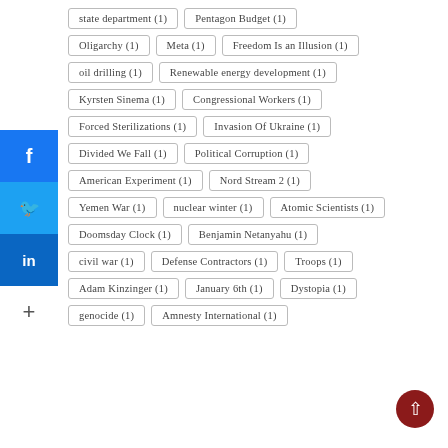state department (1)
Pentagon Budget (1)
Oligarchy (1)
Meta (1)
Freedom Is an Illusion (1)
oil drilling (1)
Renewable energy development (1)
Kyrsten Sinema (1)
Congressional Workers (1)
Forced Sterilizations (1)
Invasion Of Ukraine (1)
Divided We Fall (1)
Political Corruption (1)
American Experiment (1)
Nord Stream 2 (1)
Yemen War (1)
nuclear winter (1)
Atomic Scientists (1)
Doomsday Clock (1)
Benjamin Netanyahu (1)
civil war (1)
Defense Contractors (1)
Troops (1)
Adam Kinzinger (1)
January 6th (1)
Dystopia (1)
genocide (1)
Amnesty International (1)